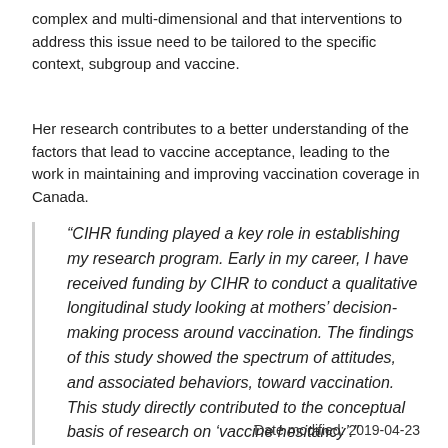complex and multi-dimensional and that interventions to address this issue need to be tailored to the specific context, subgroup and vaccine.
Her research contributes to a better understanding of the factors that lead to vaccine acceptance, leading to the work in maintaining and improving vaccination coverage in Canada.
“CIHR funding played a key role in establishing my research program. Early in my career, I have received funding by CIHR to conduct a qualitative longitudinal study looking at mothers’ decision-making process around vaccination. The findings of this study showed the spectrum of attitudes, and associated behaviors, toward vaccination. This study directly contributed to the conceptual basis of research on ‘vaccine hesitancy’.”
Date modified: 2019-04-23